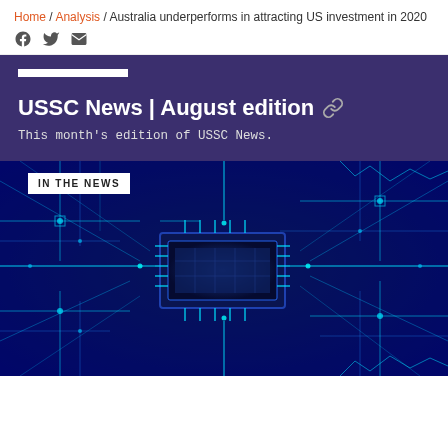Home / Analysis / Australia underperforms in attracting US investment in 2020
[Figure (illustration): Social share icons: Facebook, Twitter, Email]
USSC News | August edition
This month's edition of USSC News.
[Figure (photo): Blue circuit board with glowing lines and a central microchip, labeled IN THE NEWS]